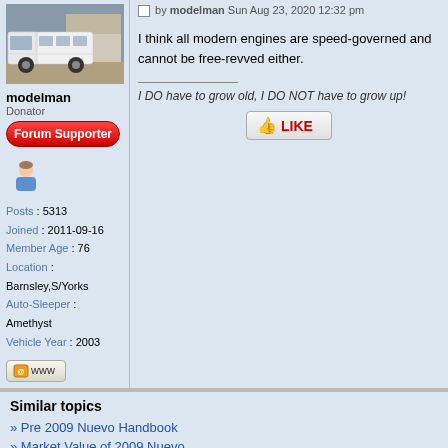[Figure (photo): Photo of a white motorhome/camper van parked outside a house]
modelman
Donator
[Figure (other): Red Forum Supporter badge button]
[Figure (illustration): User avatar icon showing a person with blue shirt]
Posts : 5313
Joined : 2011-09-16
Member Age : 76
Location : Barnsley,S/Yorks
Auto-Sleeper : Amethyst
Vehicle Year : 2003
[Figure (other): WWW website link button]
by modelman Sun Aug 23, 2020 12:32 pm
I think all modern engines are speed-governed and cannot be free-revved either.
I DO have to grow old, I DO NOT have to grow up!
[Figure (other): LIKE button with thumbs up icon]
Similar topics
» Pre 2009 Nuevo Handbook
» Market Value of 2009 Nuevo
» Towbar attachment for 2009 Nuevo EK ES
» 2009 Nuevo - Replacement Gas Regulator?